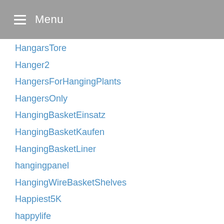Menu
HangarsTore
Hanger2
HangersForHangingPlants
HangersOnly
HangingBasketEinsatz
HangingBasketKaufen
HangingBasketLiner
hangingpanel
HangingWireBasketShelves
Happiest5K
happylife
HarborviewFarms
HarbourViewAntwerpen
HarbourViewHotelHongKong
hardware
hardwoodfloor
Hay